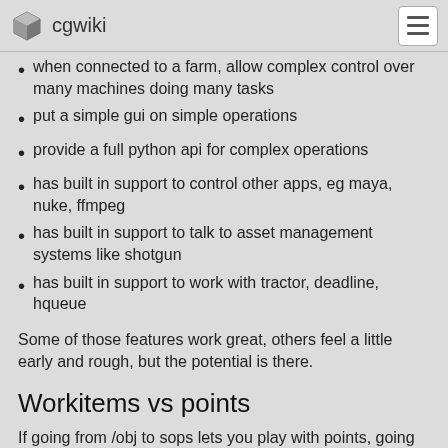cgwiki
when connected to a farm, allow complex control over many machines doing many tasks
put a simple gui on simple operations
provide a full python api for complex operations
has built in support to control other apps, eg maya, nuke, ffmpeg
has built in support to talk to asset management systems like shotgun
has built in support to work with tractor, deadline, hqueue
Some of those features work great, others feel a little early and rough, but the potential is there.
Workitems vs points
If going from /obj to sops lets you play with points, going from rops to tops lets you play with workitems, the atomic